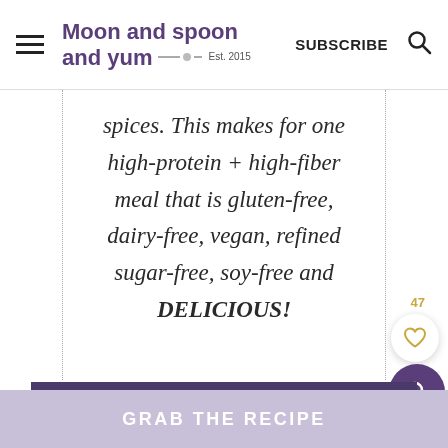Moon and spoon and yum — Est. 2015 | SUBSCRIBE
spices. This makes for one high-protein + high-fiber meal that is gluten-free, dairy-free, vegan, refined sugar-free, soy-free and DELICIOUS!
47
GRAB THE RECIPE